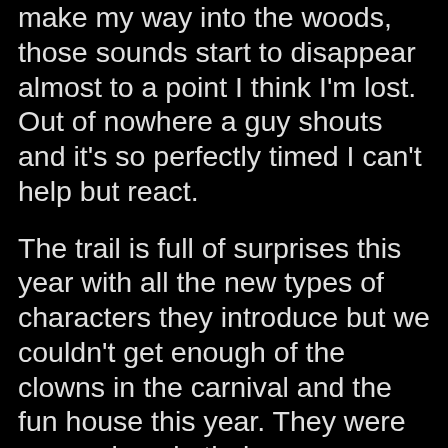make my way into the woods, those sounds start to disappear almost to a point I think I'm lost. Out of nowhere a guy shouts and it's so perfectly timed I can't help but react.

The trail is full of surprises this year with all the new types of characters they introduce but we couldn't get enough of the clowns in the carnival and the fun house this year. They were very unique in their own particular ways, everyone was an actual character. Even the same clown from the previous year got me with the 'pick a door' scene. Not sure why I suck at picking the right door but he had me